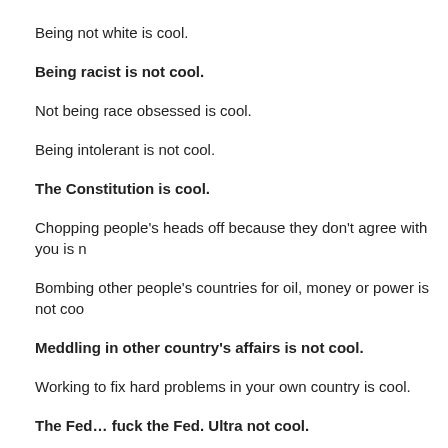Being not white is cool.
Being racist is not cool.
Not being race obsessed is cool.
Being intolerant is not cool.
The Constitution is cool.
Chopping people's heads off because they don't agree with you is n…
Bombing other people's countries for oil, money or power is not coo…
Meddling in other country's affairs is not cool.
Working to fix hard problems in your own country is cool.
The Fed… fuck the Fed. Ultra not cool.